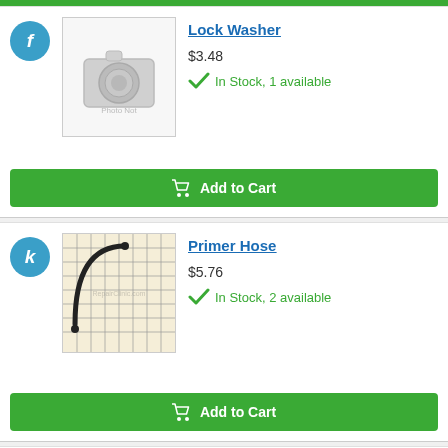[Figure (other): Top green Add to Cart button bar remnant]
f
[Figure (photo): Photo Not Available placeholder with camera icon]
Lock Washer
$3.48
In Stock, 1 available
Add to Cart
k
[Figure (photo): Primer hose product image on grid background - curved black hose]
Primer Hose
$5.76
In Stock, 2 available
Add to Cart
l
[Figure (photo): Hose clamp product image on grid background - partial view]
Hose Clamp